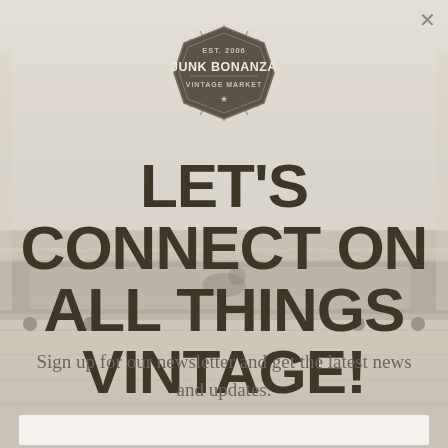[Figure (photo): Background photo of a wooden low-profile shelf/bench on wheels in a light-colored room, serving as background for an email newsletter signup modal overlay.]
[Figure (logo): Junk Bonanza Vintage Market logo — hexagonal badge shape with radiating lines, text reads EST. 2006 / JUNK BONANZA / VINTAGE MARKET with a star at the bottom]
LET'S CONNECT ON ALL THINGS VINTAGE!
Sign up for our newsletter and get the latest news and updates.